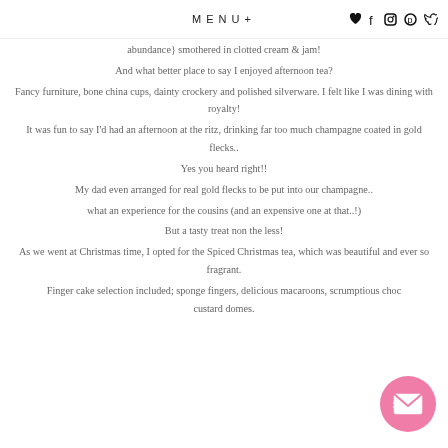MENU+
abundance} smothered in clotted cream & jam!
And what better place to say I enjoyed afternoon tea?
Fancy furniture, bone china cups, dainty crockery and polished silverware.  I felt like I was dining with royalty!
It was fun to say I'd had an afternoon at the ritz, drinking far too much champagne coated in gold flecks..
Yes you heard right!!
My dad even arranged for real gold flecks to be put into our champagne..
what an experience for the cousins (and an expensive one at that..!)
But a tasty treat non the less!
As we went at Christmas time, I opted for the Spiced Christmas tea, which was beautiful and ever so fragrant.
Finger cake selection included; sponge fingers, delicious macaroons, scrumptious choc custard domes.